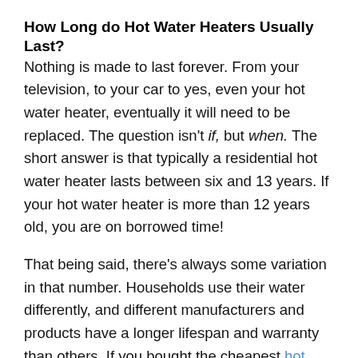How Long do Hot Water Heaters Usually Last?
Nothing is made to last forever. From your television, to your car to yes, even your hot water heater, eventually it will need to be replaced. The question isn't if, but when. The short answer is that typically a residential hot water heater lasts between six and 13 years. If your hot water heater is more than 12 years old, you are on borrowed time!
That being said, there's always some variation in that number. Households use their water differently, and different manufacturers and products have a longer lifespan and warranty than others. If you bought the cheapest hot water heater model